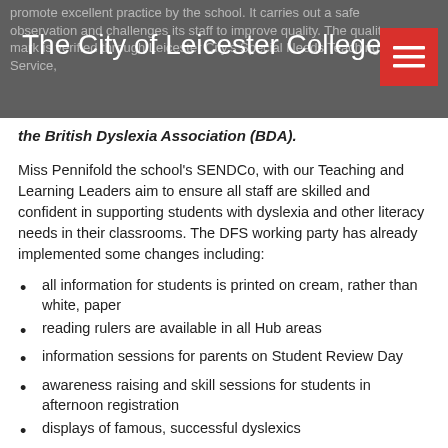The City of Leicester College
the British Dyslexia Association (BDA).
Miss Pennifold the school's SENDCo, with our Teaching and Learning Leaders aim to ensure all staff are skilled and confident in supporting students with dyslexia and other literacy needs in their classrooms. The DFS working party has already implemented some changes including:
all information for students is printed on cream, rather than white, paper
reading rulers are available in all Hub areas
information sessions for parents on Student Review Day
awareness raising and skill sessions for students in afternoon registration
displays of famous, successful dyslexics
dyslexia friendly bookshelf with additional resources in the library
We offer a range of well-founded literacy and numeracy catch up groups for years 7, 8 and 9. These include reading, spelling, handwriting, language and inference lessons. We also provide catch-up Numeracy and Numicon.
Dyslexic students now have the opportunity to learn touch typing skills